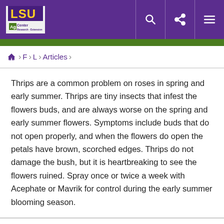LSU AgCenter
Thrips are a common problem on roses in spring and early summer. Thrips are tiny insects that infest the flowers buds, and are always worse on the spring and early summer flowers. Symptoms include buds that do not open properly, and when the flowers do open the petals have brown, scorched edges. Thrips do not damage the bush, but it is heartbreaking to see the flowers ruined. Spray once or twice a week with Acephate or Mavrik for control during the early summer blooming season.
For blue flowered hydrangeas add aluminum sulfate to the soil around your bushes now. For pink flowers, apply lime. Flower buds are already present so do not prune at this